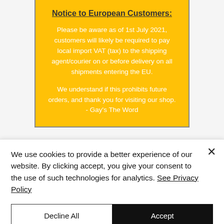Notice to European Customers:
Please be aware as of 1st July 2021, customers will likely be required to pay local import VAT (tax) to the shipping agent/courier on or before delivery on all shipments entering the EU.
We understand if this prohibits future orders, and thank you for visiting our shop. - Gay's The Word
Gay's The Word
We use cookies to provide a better experience of our website. By clicking accept, you give your consent to the use of such technologies for analytics. See Privacy Policy
Decline All
Accept
Cookie Settings